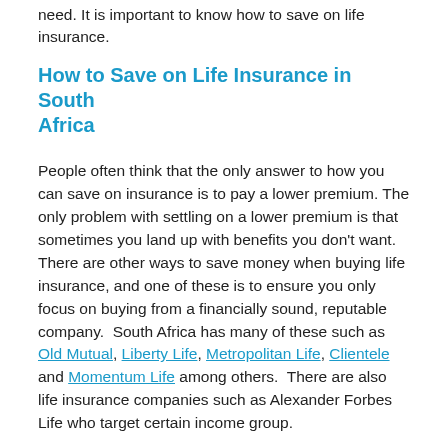need. It is important to know how to save on life insurance.
How to Save on Life Insurance in South Africa
People often think that the only answer to how you can save on insurance is to pay a lower premium. The only problem with settling on a lower premium is that sometimes you land up with benefits you don't want. There are other ways to save money when buying life insurance, and one of these is to ensure you only focus on buying from a financially sound, reputable company.  South Africa has many of these such as Old Mutual, Liberty Life, Metropolitan Life, Clientele and Momentum Life among others.  There are also life insurance companies such as Alexander Forbes Life who target certain income group.
Ways to Save on Life Insurance in SA